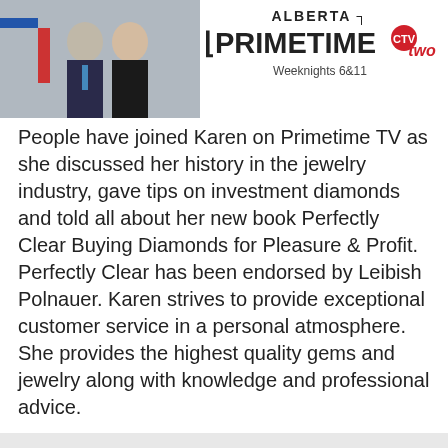[Figure (photo): Alberta Primetime CTV Two banner with two news anchors (a man and a woman) and the show logo. Text reads: ALBERTA PRIMETIME, Weeknights 6&11, CTV two logo.]
People have joined Karen on Primetime TV as she discussed her history in the jewelry industry, gave tips on investment diamonds and told all about her new book Perfectly Clear Buying Diamonds for Pleasure & Profit. Perfectly Clear has been endorsed by Leibish Polnauer. Karen strives to provide exceptional customer service in a personal atmosphere. She provides the highest quality gems and jewelry along with knowledge and professional advice.